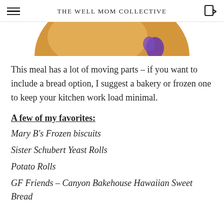The Well Mom Collective
[Figure (photo): Partial view of a round food item (bread or biscuit) with purple garnish, cropped at top of page]
This meal has a lot of moving parts – if you want to include a bread option, I suggest a bakery or frozen one to keep your kitchen work load minimal.
A few of my favorites:
Mary B's Frozen biscuits
Sister Schubert Yeast Rolls
Potato Rolls
GF Friends – Canyon Bakehouse Hawaiian Sweet Bread